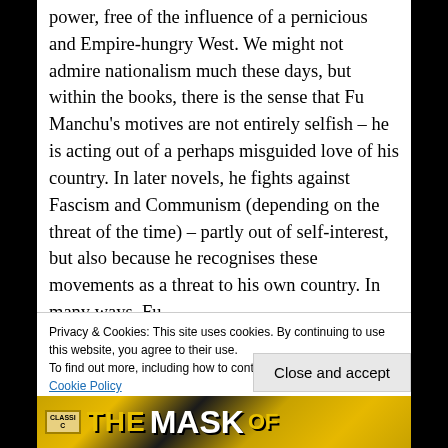power, free of the influence of a pernicious and Empire-hungry West. We might not admire nationalism much these days, but within the books, there is the sense that Fu Manchu's motives are not entirely selfish – he is acting out of a perhaps misguided love of his country. In later novels, he fights against Fascism and Communism (depending on the threat of the time) – partly out of self-interest, but also because he recognises these movements as a threat to his own country. In many ways, Fu
Privacy & Cookies: This site uses cookies. By continuing to use this website, you agree to their use.
To find out more, including how to control cookies, see here: Cookie Policy
Close and accept
[Figure (photo): Bottom portion of a book cover showing 'THE' and 'MASK' text in bold yellow/white lettering on a dark background with a Classic badge]